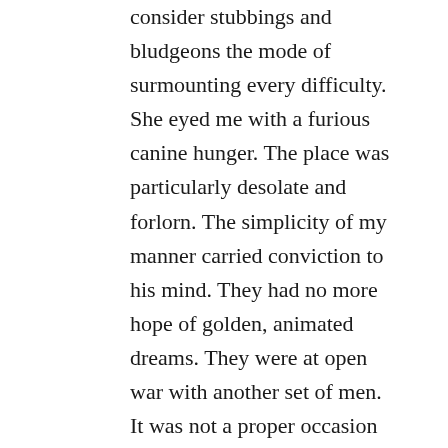consider stubbings and bludgeons the mode of surmounting every difficulty. She eyed me with a furious canine hunger. The place was particularly desolate and forlorn. The simplicity of my manner carried conviction to his mind. They had no more hope of golden, animated dreams. They were at open war with another set of men. It was not a proper occasion for a joke. My astonishment was still increased when I perceived something in the general air of some of them. The feverous blood of savage ferocity seemed to flow from her heart. I thought myself conducted by an angel, not a man. Their turbulence